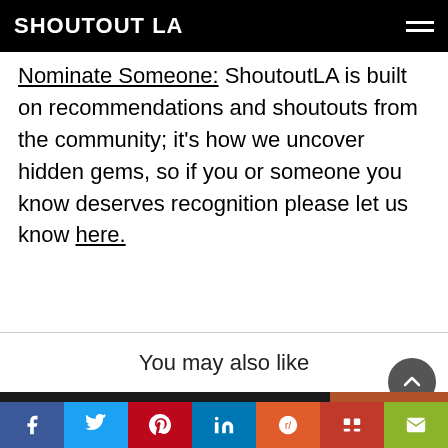SHOUTOUT LA
Nominate Someone: ShoutoutLA is built on recommendations and shoutouts from the community; it's how we uncover hidden gems, so if you or someone you know deserves recognition please let us know here.
You may also like
[Figure (photo): Two thumbnail images side by side at the bottom of the page]
[Figure (infographic): Social media sharing bar with icons for Facebook, Twitter, Pinterest, LinkedIn, Reddit, Mix, and Email]